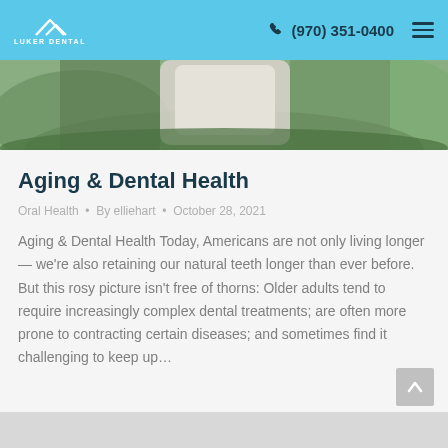LUKER DENTAL | (970) 351-0400
[Figure (photo): Partial view of a person outdoors in natural greenery setting, wearing light-colored clothing]
Aging & Dental Health
Oral Health  •  By elliehart  •  October 28, 2021
Aging & Dental Health Today, Americans are not only living longer — we're also retaining our natural teeth longer than ever before. But this rosy picture isn't free of thorns: Older adults tend to require increasingly complex dental treatments; are often more prone to contracting certain diseases; and sometimes find it challenging to keep up…